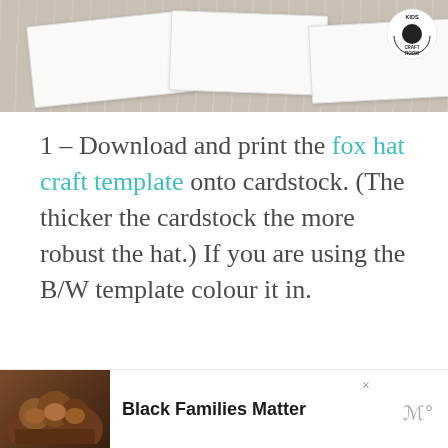[Figure (photo): Top portion of a photo showing paper craft templates on a white/grey wood surface, with a Kids Craft Room logo circle in the top right corner.]
1 – Download and print the fox hat craft template onto cardstock. (The thicker the cardstock the more robust the hat.) If you are using the B/W template colour it in.
[Figure (other): Three pagination dots (circle indicators) centered on the page.]
[Figure (photo): Advertisement banner at the bottom showing smiling family photo on left with text 'Black Families Matter' and a w logo on the right.]